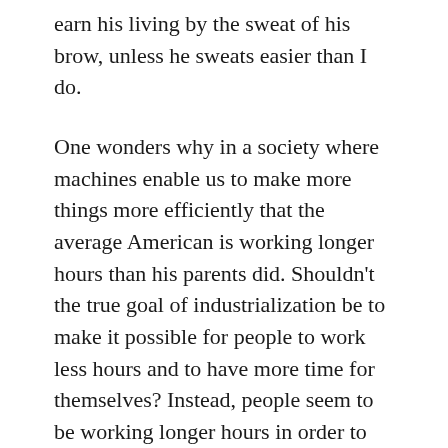earn his living by the sweat of his brow, unless he sweats easier than I do.
One wonders why in a society where machines enable us to make more things more efficiently that the average American is working longer hours than his parents did. Shouldn't the true goal of industrialization be to make it possible for people to work less hours and to have more time for themselves? Instead, people seem to be working longer hours in order to buy more things that they have less time to use.
If colleges educated the whole person, would college graduates be less willing to put in long hours working at jobs? Would they have goals